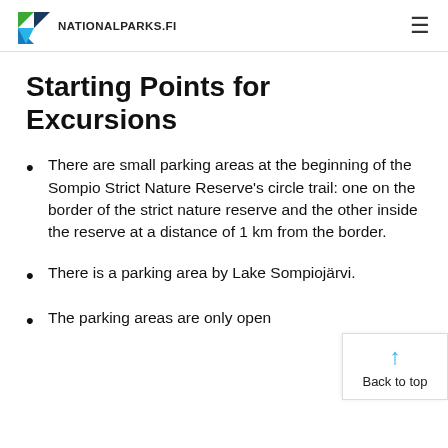NATIONALPARKS.FI
Starting Points for Excursions
There are small parking areas at the beginning of the Sompio Strict Nature Reserve's circle trail: one on the border of the strict nature reserve and the other inside the reserve at a distance of 1 km from the border.
There is a parking area by Lake Sompiojärvi.
The parking areas are only open